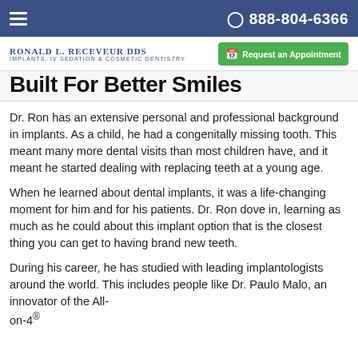☰  888-804-6366
Ronald L. Receveur DDS | Implants, IV Sedation & Cosmetic Dentistry | Request an Appointment
Built For Better Smiles
Dr. Ron has an extensive personal and professional background in implants.  As a child, he had a congenitally missing tooth. This meant many more dental visits than most children have, and it meant he started dealing with replacing teeth at a young age.
When he learned about dental implants, it was a life-changing moment for him and for his patients. Dr. Ron dove in, learning as much as he could about this implant option that is the closest thing you can get to having brand new teeth.
During his career, he has studied with leading implantologists around the world. This includes people like Dr. Paulo Malo, an innovator of the All-on-4®